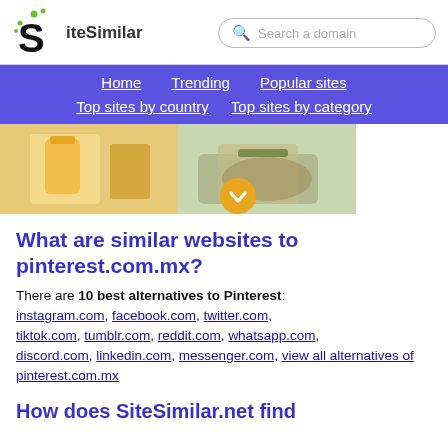SiteSimilar — Search a domain
Home | Trending | Popular sites | Top sites by country | Top sites by category
[Figure (photo): Two food preparation photos side by side with a circular yellow dropdown button]
What are similar websites to pinterest.com.mx?
There are 10 best alternatives to Pinterest: instagram.com, facebook.com, twitter.com, tiktok.com, tumblr.com, reddit.com, whatsapp.com, discord.com, linkedin.com, messenger.com, view all alternatives of pinterest.com.mx
How does SiteSimilar.net find